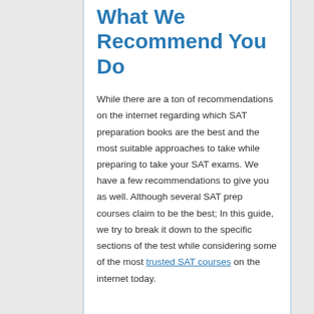What We Recommend You Do
While there are a ton of recommendations on the internet regarding which SAT preparation books are the best and the most suitable approaches to take while preparing to take your SAT exams. We have a few recommendations to give you as well. Although several SAT prep courses claim to be the best; In this guide, we try to break it down to the specific sections of the test while considering some of the most trusted SAT courses on the internet today.